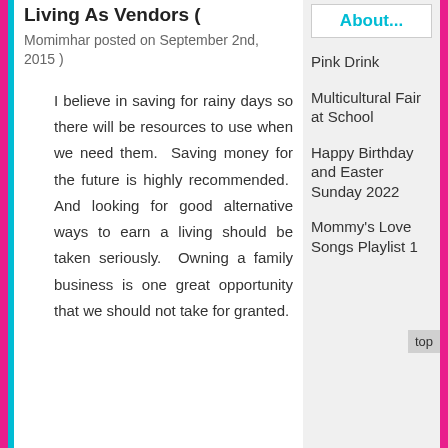Living As Vendors ( Momimhar posted on September 2nd, 2015 )
I believe in saving for rainy days so there will be resources to use when we need them. Saving money for the future is highly recommended. And looking for good alternative ways to earn a living should be taken seriously. Owning a family business is one great opportunity that we should not take for granted.
About...
Pink Drink
Multicultural Fair at School
Happy Birthday and Easter Sunday 2022
Mommy's Love Songs Playlist 1